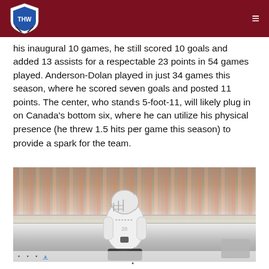THW (The Hockey Writers) logo and navigation
his inaugural 10 games, he still scored 10 goals and added 13 assists for a respectable 23 points in 54 games played. Anderson-Dolan played in just 34 games this season, where he scored seven goals and posted 11 points. The center, who stands 5-foot-11, will likely plug in on Canada's bottom six, where he can utilize his physical presence (he threw 1.5 hits per game this season) to provide a spark for the team.
[Figure (photo): Hockey player wearing white LA Kings jersey and helmet, skating on ice rink with crowd of fans (many in orange) visible in background stands.]